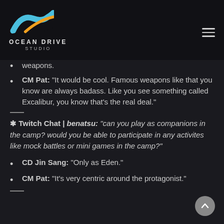OCEAN DRIVE STUDIO
weapons.
CM Pat: "It would be cool. Famous weapons like that you know are always badass. Like you see something called Excalibur, you know that's the real deal."
* Twitch Chat | benatsu: "can you play as companions in the camp? would you be able to participate in any activites like mock battles or mini games in the camp?"
CD Jin Sang: "Only as Eden."
CM Pat: "It's very centric around the protagonist."